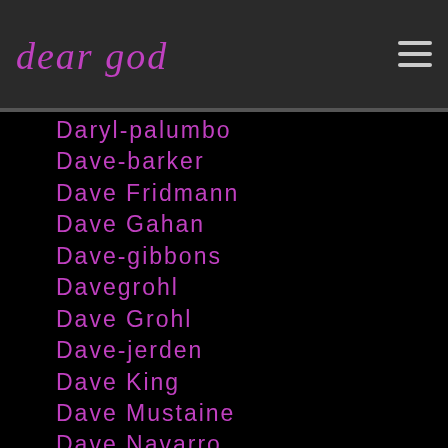dear god
Daryl-palumbo
Dave-barker
Dave Fridmann
Dave Gahan
Dave-gibbons
Davegrohl
Dave Grohl
Dave-jerden
Dave King
Dave Mustaine
Dave Navarro
Dave Vanian
Davey Havok
David B
David Bowie
David Byrne
David byrne